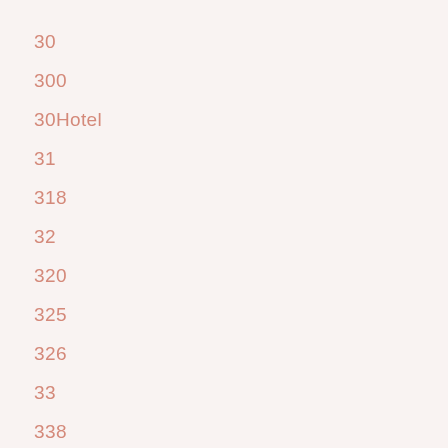30
300
30Hotel
31
318
32
320
325
326
33
338
389
3dPrinting
3dRoomDesigner